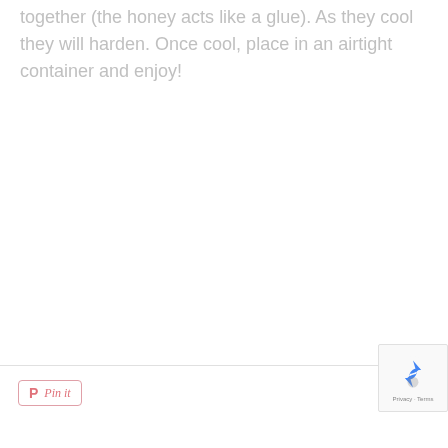together (the honey acts like a glue). As they cool they will harden. Once cool, place in an airtight container and enjoy!
[Figure (other): reCAPTCHA badge with logo, Privacy and Terms text]
Pin it